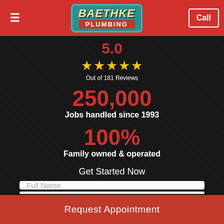Schedule an Appointment by completing our online
[Figure (logo): Baethke Plumbing logo — teal background with italic yellow text 'BAETHKE' above a red banner reading 'PLUMBING']
5.0
★★★★★
Out of 181 Reviews
250,000
Jobs handled since 1993
100%
Family owned & operated
Get Started Now
Full Name
Request Appointment